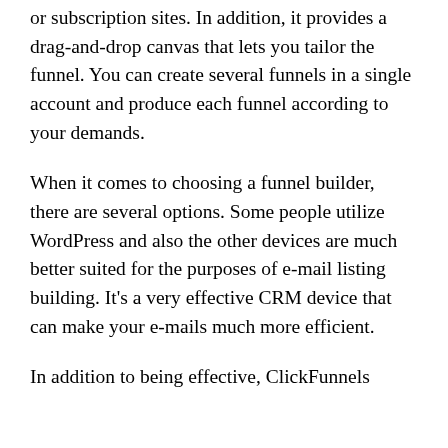or subscription sites. In addition, it provides a drag-and-drop canvas that lets you tailor the funnel. You can create several funnels in a single account and produce each funnel according to your demands.
When it comes to choosing a funnel builder, there are several options. Some people utilize WordPress and also the other devices are much better suited for the purposes of e-mail listing building. It's a very effective CRM device that can make your e-mails much more efficient.
In addition to being effective, ClickFunnels